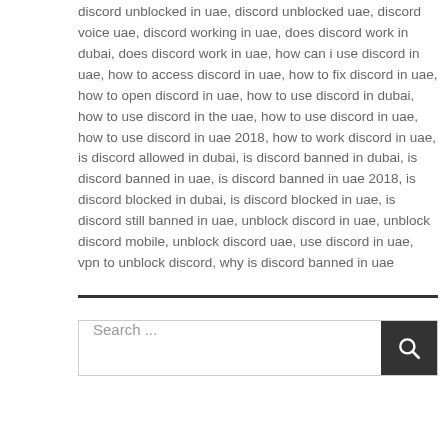discord unblocked in uae, discord unblocked uae, discord voice uae, discord working in uae, does discord work in dubai, does discord work in uae, how can i use discord in uae, how to access discord in uae, how to fix discord in uae, how to open discord in uae, how to use discord in dubai, how to use discord in the uae, how to use discord in uae, how to use discord in uae 2018, how to work discord in uae, is discord allowed in dubai, is discord banned in dubai, is discord banned in uae, is discord banned in uae 2018, is discord blocked in dubai, is discord blocked in uae, is discord still banned in uae, unblock discord in uae, unblock discord mobile, unblock discord uae, use discord in uae, vpn to unblock discord, why is discord banned in uae
Search ...